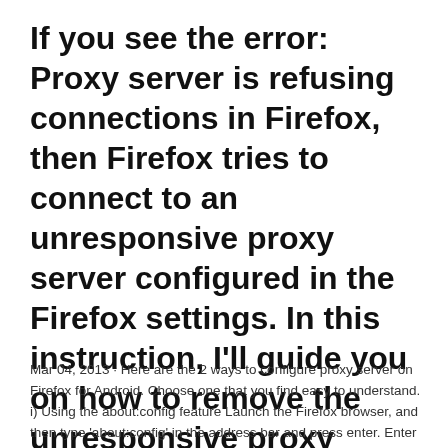If you see the error: Proxy server is refusing connections in Firefox, then Firefox tries to connect to an unresponsive proxy server configured in the Firefox settings. In this instruction, I'll guide you on how to remove the unresponsive proxy settings from the Firefox web browser settings.
Mar 04, 2013 · Here are the 2 ways to configure proxy server on Firefox for Android. Choose one that you find easy to understand. i) Using the about:config feature Launch the Firefox browser, and then type 'about:config' in the address bar and press enter. Enter a valid link that initially caused the call.